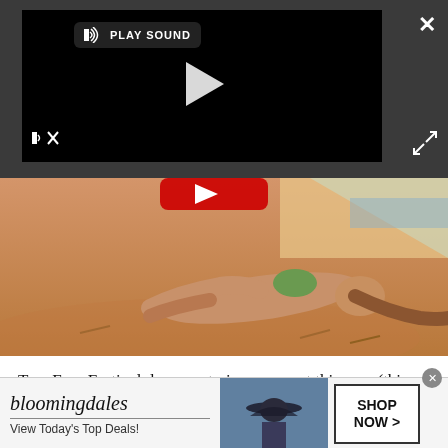[Figure (screenshot): Video player overlay on dark gray background showing a black video player with PLAY SOUND button, play triangle icon, mute icon, close X button, and expand icon]
[Figure (photo): Photo of a woman in a green bikini lying on sandy ground, promotional image for Fyre Festival documentary]
Two Fyre Festival documentaries came out this year (this one, which premiered on Netflix in January, and Fyre
[Figure (screenshot): Bloomingdale's advertisement banner with logo, 'View Today's Top Deals!' tagline, model in hat, and 'SHOP NOW >' button]